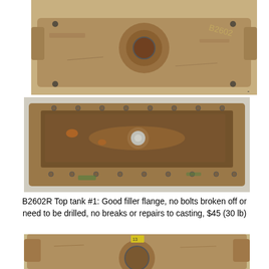[Figure (photo): Top view of a rusty/worn metal casting part (B2602R top tank) showing a circular opening/flange in the center, with markings visible on the right side]
[Figure (photo): Bottom/reverse view of the same B2602R top tank metal casting, showing a rectangular trough shape with a central circular hole and rows of rivets/bolts along the edges]
B2602R Top tank #1: Good filler flange, no bolts broken off or need to be drilled, no breaks or repairs to casting, $45 (30 lb)
[Figure (photo): Partial view of another metal casting part, rusty/worn, showing top with a circular opening and mechanical features]